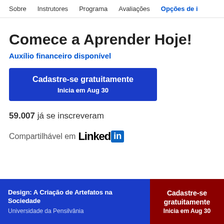Sobre   Instrutores   Programa   Avaliações   Opções de i
Comece a Aprender Hoje!
Auxílio financeiro disponível
Cadastre-se gratuitamente
Inicia em Aug 30
59.007 já se inscreveram
Compartilhável em LinkedIn
Design: A Criação de Artefatos na Sociedade
Universidade da Pensilvânia
Cadastre-se gratuitamente Inicia em Aug 30